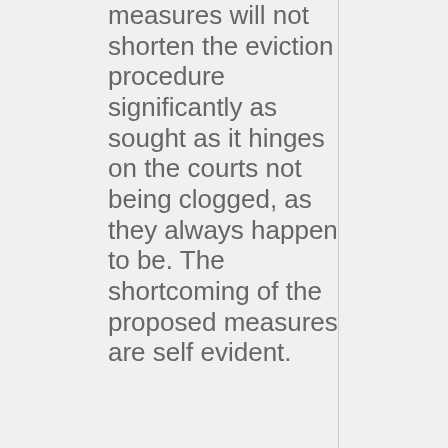measures will not shorten the eviction procedure significantly as sought as it hinges on the courts not being clogged, as they always happen to be. The shortcoming of the proposed measures are self evident.